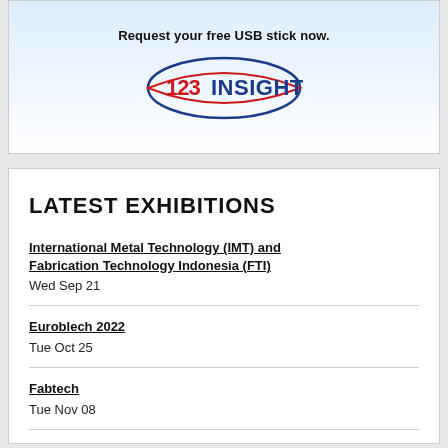[Figure (logo): 123INSIGHT logo with eye-shaped oval graphic and text '123INSIGHT' in blue and red, above text 'Request your free USB stick now.']
LATEST EXHIBITIONS
International Metal Technology (IMT) and Fabrication Technology Indonesia (FTI)
Wed Sep 21
Euroblech 2022
Tue Oct 25
Fabtech
Tue Nov 08